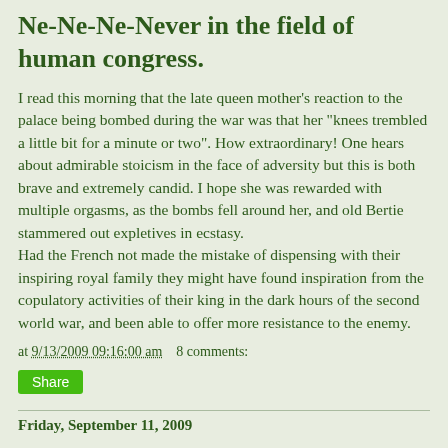Ne-Ne-Ne-Never in the field of human congress.
I read this morning that the late queen mother's reaction to the palace being bombed during the war was that her "knees trembled a little bit for a minute or two". How extraordinary! One hears about admirable stoicism in the face of adversity but this is both brave and extremely candid. I hope she was rewarded with multiple orgasms, as the bombs fell around her, and old Bertie stammered out expletives in ecstasy.
Had the French not made the mistake of dispensing with their inspiring royal family they might have found inspiration from the copulatory activities of their king in the dark hours of the second world war, and been able to offer more resistance to the enemy.
at 9/13/2009 09:16:00 am   8 comments:
Share
Friday, September 11, 2009